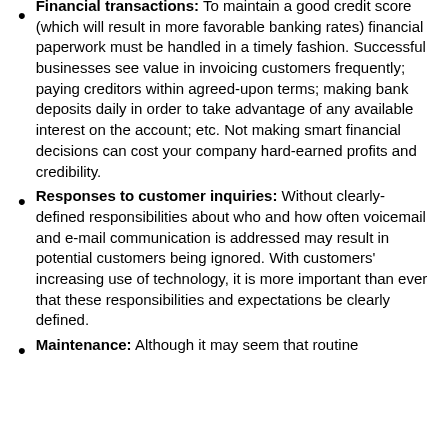Financial transactions: To maintain a good credit score (which will result in more favorable banking rates) financial paperwork must be handled in a timely fashion. Successful businesses see value in invoicing customers frequently; paying creditors within agreed-upon terms; making bank deposits daily in order to take advantage of any available interest on the account; etc. Not making smart financial decisions can cost your company hard-earned profits and credibility.
Responses to customer inquiries: Without clearly-defined responsibilities about who and how often voicemail and e-mail communication is addressed may result in potential customers being ignored. With customers' increasing use of technology, it is more important than ever that these responsibilities and expectations be clearly defined.
Maintenance: Although it may seem that routine